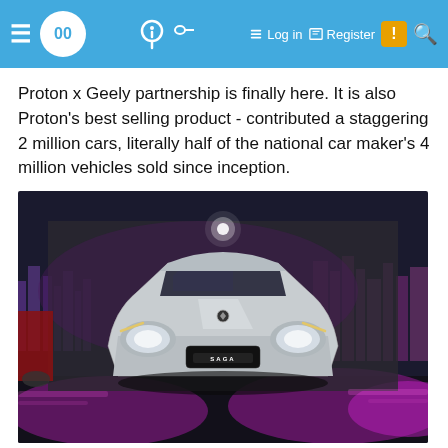00 | Log in | Register
Proton x Geely partnership is finally here. It is also Proton's best selling product - contributed a staggering 2 million cars, literally half of the national car maker's 4 million vehicles sold since inception.
[Figure (photo): Front view of a silver Proton Saga car displayed on a dark stage with purple city skyline backdrop lighting]